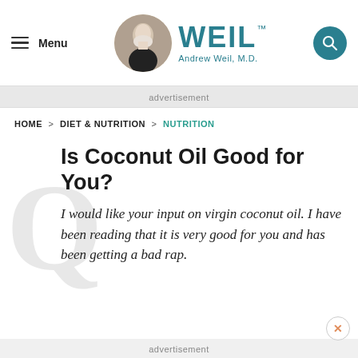Menu | WEIL Andrew Weil, M.D.
advertisement
HOME > DIET & NUTRITION > NUTRITION
Is Coconut Oil Good for You?
I would like your input on virgin coconut oil. I have been reading that it is very good for you and has been getting a bad rap.
advertisement